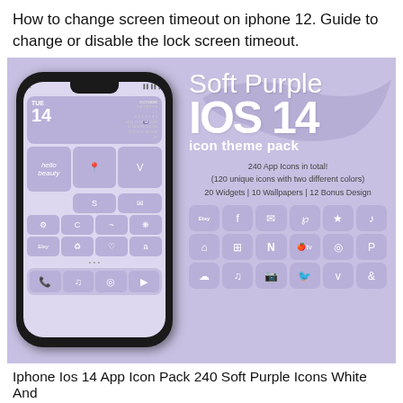How to change screen timeout on iphone 12. Guide to change or disable the lock screen timeout.
[Figure (screenshot): Product promotional image showing an iPhone mockup with a soft purple iOS 14 icon theme pack. The left side shows a phone with purple app icons on the home screen. The right side shows the text 'Soft Purple iOS 14 icon theme pack' with details: 240 App Icons in total! (120 unique icons with two different colors) 20 Widgets | 10 Wallpapers | 12 Bonus Design, and a grid of sample app icons including Etsy, Facebook, messages, Pinterest, star, music, home, calculator, Netflix, Apple TV, Instagram, PayPal, SoundCloud, Spotify, camera, Twitter, Vimeo, and another icon.]
Iphone Ios 14 App Icon Pack 240 Soft Purple Icons White And